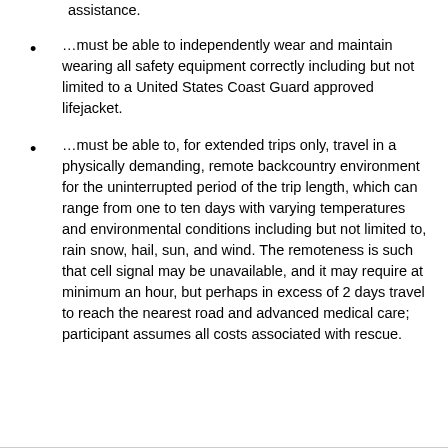assistance.
…must be able to independently wear and maintain wearing all safety equipment correctly including but not limited to a United States Coast Guard approved lifejacket.
…must be able to, for extended trips only, travel in a physically demanding, remote backcountry environment for the uninterrupted period of the trip length, which can range from one to ten days with varying temperatures and environmental conditions including but not limited to, rain snow, hail, sun, and wind. The remoteness is such that cell signal may be unavailable, and it may require at minimum an hour, but perhaps in excess of 2 days travel to reach the nearest road and advanced medical care; participant assumes all costs associated with rescue.